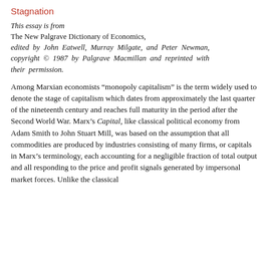Stagnation
This essay is from The New Palgrave Dictionary of Economics, edited by John Eatwell, Murray Milgate, and Peter Newman, copyright © 1987 by Palgrave Macmillan and reprinted with their permission.
Among Marxian economists “monopoly capitalism” is the term widely used to denote the stage of capitalism which dates from approximately the last quarter of the nineteenth century and reaches full maturity in the period after the Second World War. Marx’s Capital, like classical political economy from Adam Smith to John Stuart Mill, was based on the assumption that all commodities are produced by industries consisting of many firms, or capitals in Marx’s terminology, each accounting for a negligible fraction of total output and all responding to the price and profit signals generated by impersonal market forces. Unlike the classical